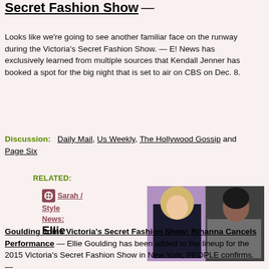Secret Fashion Show —
Looks like we're going to see another familiar face on the runway during the Victoria's Secret Fashion Show. — E! News has exclusively learned from multiple sources that Kendall Jenner has booked a spot for the big night that is set to air on CBS on Dec. 8.
Discussion:  Daily Mail, Us Weekly, The Hollywood Gossip and Page Six
RELATED:
Sarah / Style News: Ellie
[Figure (photo): Two women side by side: a blonde woman in dark floral outfit on left against purple background, and a woman in grey blazer with yellow top on right]
Goulding Joins Victoria's Secret Fashion Show; Rihanna Cancels Performance — Ellie Goulding has been added to the lineup for the 2015 Victoria's Secret Fashion Show in New York, PEOPLE confirms. —